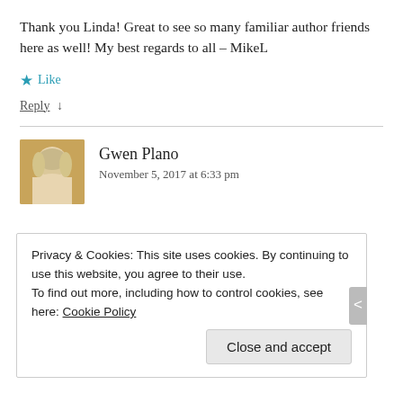Thank you Linda! Great to see so many familiar author friends here as well! My best regards to all – MikeL
★ Like
Reply ↓
Gwen Plano
November 5, 2017 at 6:33 pm
Privacy & Cookies: This site uses cookies. By continuing to use this website, you agree to their use.
To find out more, including how to control cookies, see here: Cookie Policy
Close and accept